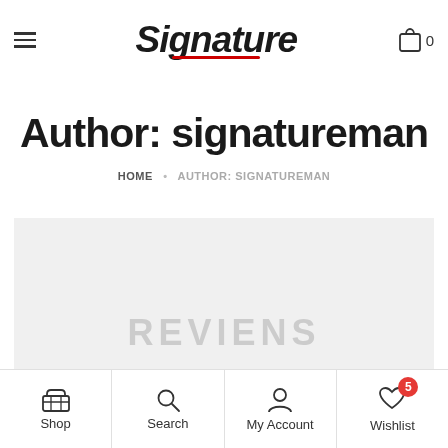Signature — navigation header with hamburger menu, logo, and cart icon (0 items)
Author: signatureman
HOME · AUTHOR: SIGNATUREMAN
[Figure (other): Gray placeholder content area with 'REVIENS' text watermark]
Shop | Search | My Account | Wishlist (5)